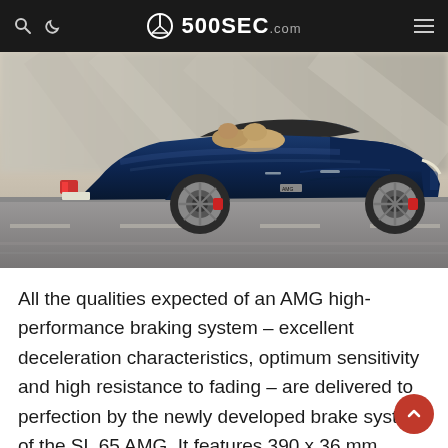500SEC.com
[Figure (photo): A dark blue Mercedes-Benz SL 65 AMG convertible photographed in motion from the side, with a blurred background showing a road and concrete wall. The car has the top down revealing a tan interior.]
All the qualities expected of an AMG high-performance braking system – excellent deceleration characteristics, optimum sensitivity and high resistance to fading – are delivered to perfection by the newly developed brake system of the SL 65 AMG. It features 390 x 36 mm compound discs